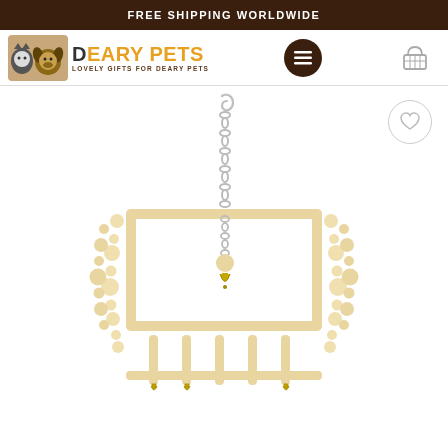FREE SHIPPING WORLDWIDE
[Figure (logo): Deary Pets logo with pet animals (cat, dog) and text DEARY PETS - LOVELY GIFTS FOR DEARY PETS]
[Figure (photo): Bird toy product photo: wooden swing/ladder with beads and a chain hanger with a small bell, on white background]